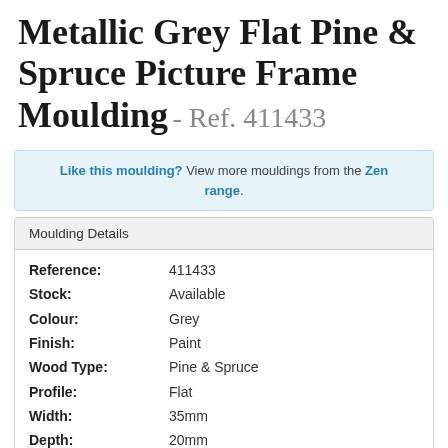Metallic Grey Flat Pine & Spruce Picture Frame Moulding - Ref. 411433
Like this moulding? View more mouldings from the Zen range.
Moulding Details
| Field | Value |
| --- | --- |
| Reference: | 411433 |
| Stock: | Available |
| Colour: | Grey |
| Finish: | Paint |
| Wood Type: | Pine & Spruce |
| Profile: | Flat |
| Width: | 35mm |
| Depth: | 20mm |
| Rebate Depth: | 14mm |
Order a £0.60 sample